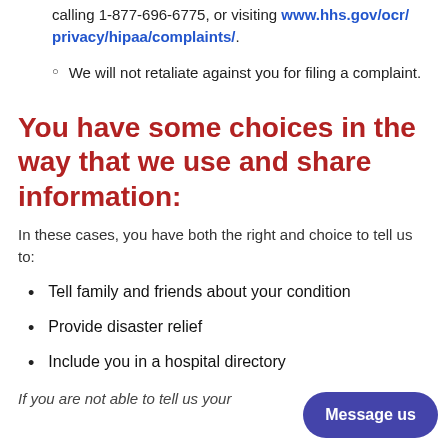calling 1-877-696-6775, or visiting www.hhs.gov/ocr/privacy/hipaa/complaints/.
We will not retaliate against you for filing a complaint.
You have some choices in the way that we use and share information:
In these cases, you have both the right and choice to tell us to:
Tell family and friends about your condition
Provide disaster relief
Include you in a hospital directory
If you are not able to tell us your